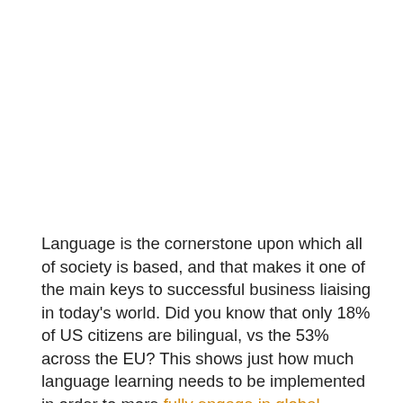Language is the cornerstone upon which all of society is based, and that makes it one of the main keys to successful business liaising in today's world. Did you know that only 18% of US citizens are bilingual, vs the 53% across the EU? This shows just how much language learning needs to be implemented in order to more fully engage in global business. Language skills in the business world go beyond simple communication with others nowadays. They require a working knowledge of business-specific terminology and